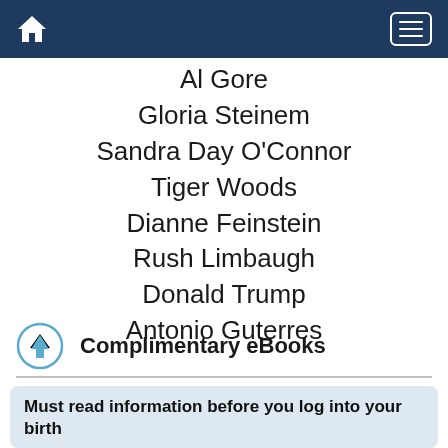Navigation bar with home icon and menu button
Al Gore
Gloria Steinem
Sandra Day O'Connor
Tiger Woods
Dianne Feinstein
Rush Limbaugh
Donald Trump
Antonio Guterres
Complimentary eBooks
Must read information before you log into your birth